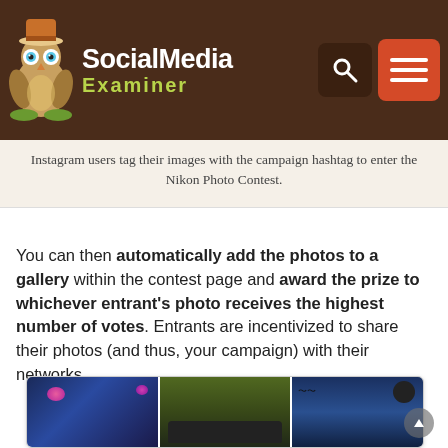SocialMedia Examiner
Instagram users tag their images with the campaign hashtag to enter the Nikon Photo Contest.
You can then automatically add the photos to a gallery within the contest page and award the prize to whichever entrant's photo receives the highest number of votes. Entrants are incentivized to share their photos (and thus, your campaign) with their networks.
[Figure (photo): Photo gallery grid showing three rows of contest photos including a volcanic eruption, people in a car, and a silhouette with moon scene]